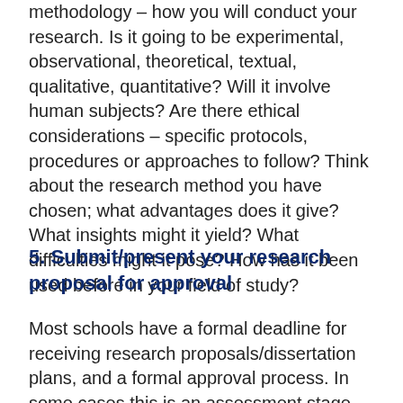methodology – how you will conduct your research. Is it going to be experimental, observational, theoretical, textual, qualitative, quantitative? Will it involve human subjects? Are there ethical considerations – specific protocols, procedures or approaches to follow? Think about the research method you have chosen; what advantages does it give? What insights might it yield? What difficulties might it pose? How has it been used before in your field of study?
5. Submit/present your research proposal for approval
Most schools have a formal deadline for receiving research proposals/dissertation plans, and a formal approval process. In some cases this is an assessment stage – so make sure you know exactly